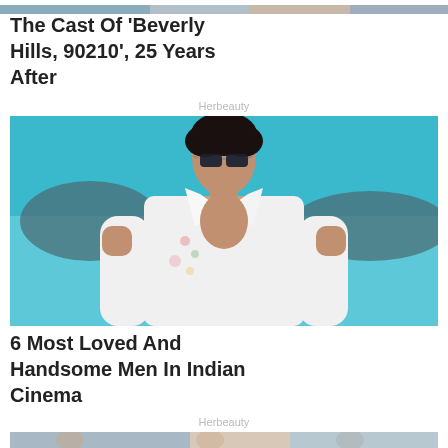[Figure (photo): Partial cropped photo at top of page, showing people, partially cut off]
The Cast Of 'Beverly Hills, 90210', 25 Years After
Herbeauty
[Figure (photo): Photo of a handsome man in a white open shirt with sunglasses, standing against a teal/blue outdoor background]
6 Most Loved And Handsome Men In Indian Cinema
Herbeauty
[Figure (photo): Partial cropped photo at bottom of page, showing people, partially cut off]